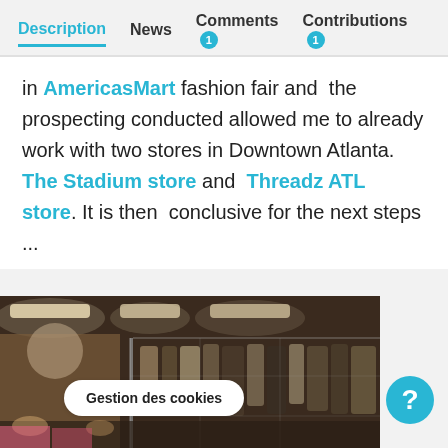Description | News | Comments 1 | Contributions 1
in AmericasMart fashion fair and the prospecting conducted allowed me to already work with two stores in Downtown Atlanta. The Stadium store and Threadz ATL store. It is then conclusive for the next steps ...
[Figure (photo): Interior of a clothing store showing racks of hanging garments, ceiling lights, and people browsing.]
Gestion des cookies